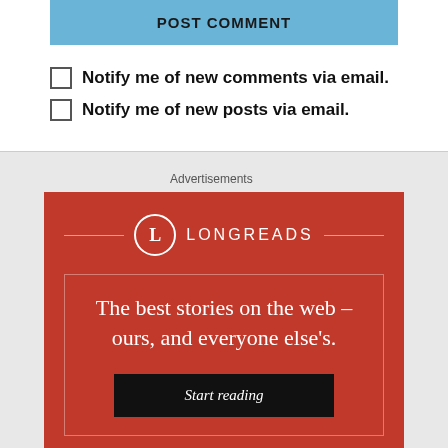POST COMMENT
Notify me of new comments via email.
Notify me of new posts via email.
Advertisements
[Figure (illustration): Longreads advertisement banner with red background, logo, tagline 'The best stories on the web – ours, and everyone else's.' and a 'Start reading' button.]